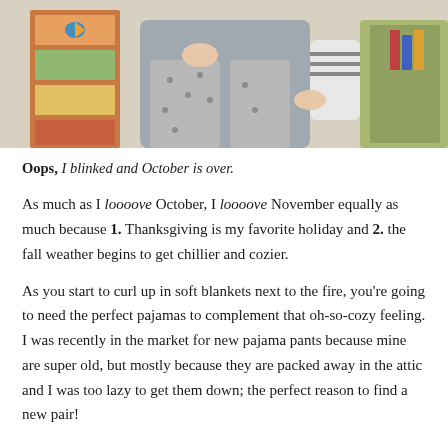[Figure (photo): Person sitting in a chair wearing gray pajama pants with a pattern, next to a colorful painted dresser]
Oops, I blinked and October is over.
As much as I loooove October, I loooove November equally as much because 1. Thanksgiving is my favorite holiday and 2. the fall weather begins to get chillier and cozier.
As you start to curl up in soft blankets next to the fire, you're going to need the perfect pajamas to complement that oh-so-cozy feeling. I was recently in the market for new pajama pants because mine are super old, but mostly because they are packed away in the attic and I was too lazy to get them down; the perfect reason to find a new pair!